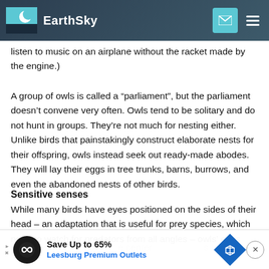EarthSky
listen to music on an airplane without the racket made by the engine.)
A group of owls is called a “parliament”, but the parliament doesn’t convene very often. Owls tend to be solitary and do not hunt in groups. They’re not much for nesting either. Unlike birds that painstakingly construct elaborate nests for their offspring, owls instead seek out ready-made abodes. They will lay their eggs in tree trunks, barns, burrows, and even the abandoned nests of other birds.
Sensitive senses
While many birds have eyes positioned on the sides of their head – an adaptation that is useful for prey species, which need to watch for predators from all angles – owls’ eyes
(like tho... center ... s for